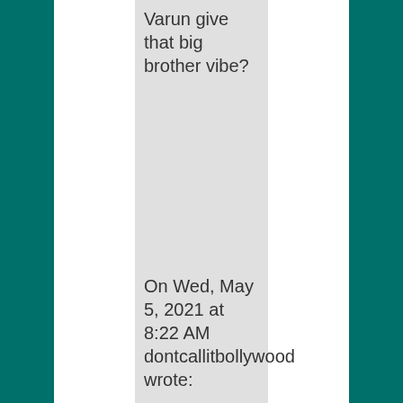Varun give that big brother vibe?
On Wed, May 5, 2021 at 8:22 AM dontcallitbollywood wrote:
>
★ Like
Advertisements
[Figure (other): Longreads advertisement banner: The best stories on the web — ours, and everyone else's.]